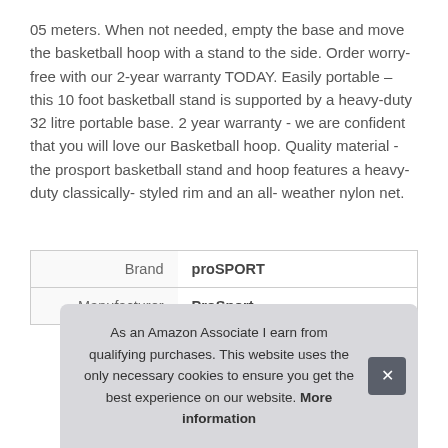05 meters. When not needed, empty the base and move the basketball hoop with a stand to the side. Order worry-free with our 2-year warranty TODAY. Easily portable – this 10 foot basketball stand is supported by a heavy-duty 32 litre portable base. 2 year warranty - we are confident that you will love our Basketball hoop. Quality material - the prosport basketball stand and hoop features a heavy-duty classically- styled rim and an all- weather nylon net.
|  |  |
| --- | --- |
| Brand | proSPORT |
| Manufacturer | ProSport |
As an Amazon Associate I earn from qualifying purchases. This website uses the only necessary cookies to ensure you get the best experience on our website. More information